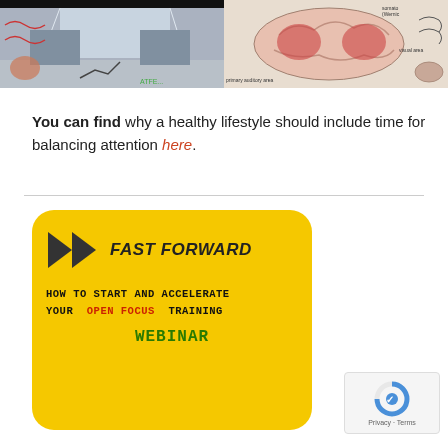[Figure (photo): Two images side by side: left shows a shopping mall interior, right shows a brain anatomy diagram with labeled areas]
You can find why a healthy lifestyle should include time for balancing attention here.
[Figure (infographic): Yellow rounded rectangle banner: Fast Forward logo with play arrows, text 'HOW TO START AND ACCELERATE YOUR OPEN FOCUS TRAINING WEBINAR']
[Figure (other): reCAPTCHA widget with Privacy and Terms links]